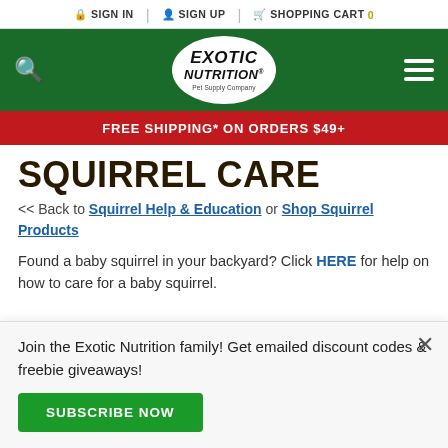SIGN IN | SIGN UP | SHOPPING CART 0
[Figure (logo): Exotic Nutrition Pet Supply Company logo in green oval on dark green header bar with search icon and hamburger menu]
FREE SHIPPING* ON ORDERS $49+
SQUIRREL CARE
<< Back to Squirrel Help & Education or Shop Squirrel Products
Found a baby squirrel in your backyard? Click HERE for help on how to care for a baby squirrel.
Join the Exotic Nutrition family! Get emailed discount codes & freebie giveaways!
SUBSCRIBE NOW